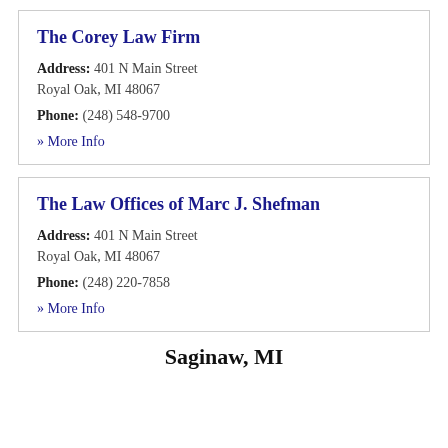The Corey Law Firm
Address: 401 N Main Street
Royal Oak, MI 48067
Phone: (248) 548-9700
» More Info
The Law Offices of Marc J. Shefman
Address: 401 N Main Street
Royal Oak, MI 48067
Phone: (248) 220-7858
» More Info
Saginaw, MI